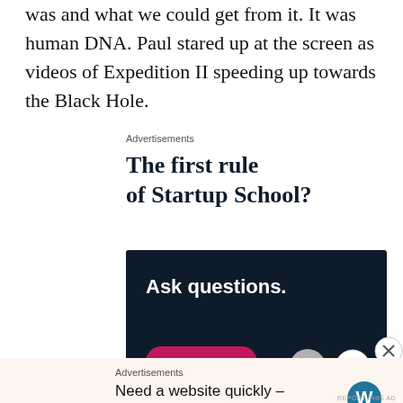was and what we could get from it. It was human DNA. Paul stared up at the screen as videos of Expedition II speeding up towards the Black Hole.
Advertisements
[Figure (illustration): Advertisement: 'The first rule of Startup School?' text in bold serif font, followed by a dark navy banner reading 'Ask questions.' with a pink 'Start a survey' button and WordPress/survey logos.]
Advertisements
Need a website quickly – and on a budget?